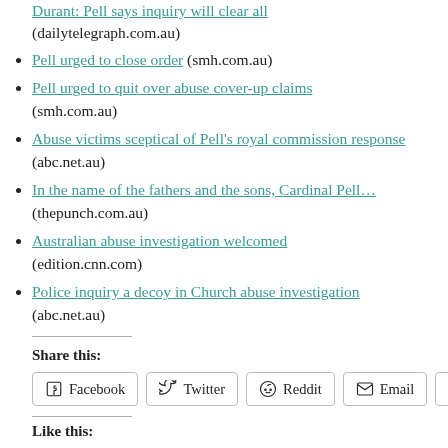Durant: Pell says inquiry will clear all (dailytelegraph.com.au)
Pell urged to close order (smh.com.au)
Pell urged to quit over abuse cover-up claims (smh.com.au)
Abuse victims sceptical of Pell's royal commission response (abc.net.au)
In the name of the fathers and the sons, Cardinal Pell… (thepunch.com.au)
Australian abuse investigation welcomed (edition.cnn.com)
Police inquiry a decoy in Church abuse investigation (abc.net.au)
Share this:
Facebook  Twitter  Reddit  Email  More
Like this: